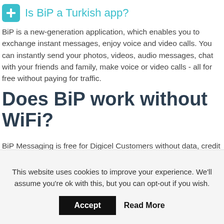Is BiP a Turkish app?
BiP is a new-generation application, which enables you to exchange instant messages, enjoy voice and video calls. You can instantly send your photos, videos, audio messages, chat with your friends and family, make voice or video calls - all for free without paying for traffic.
Does BiP work without WiFi?
BiP Messaging is free for Digicel Customers without data, credit or WiFi required. You must be a smartphone user with Mobile Data turned on.
This website uses cookies to improve your experience. We'll assume you're ok with this, but you can opt-out if you wish. Accept Read More